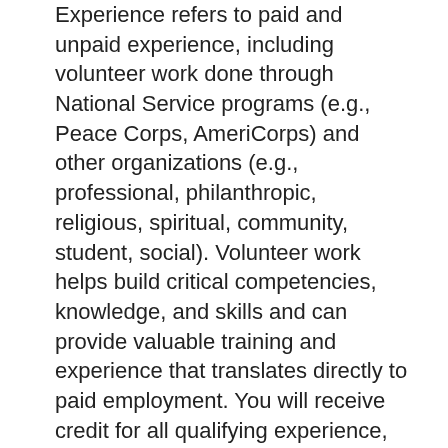Experience refers to paid and unpaid experience, including volunteer work done through National Service programs (e.g., Peace Corps, AmeriCorps) and other organizations (e.g., professional, philanthropic, religious, spiritual, community, student, social). Volunteer work helps build critical competencies, knowledge, and skills and can provide valuable training and experience that translates directly to paid employment. You will receive credit for all qualifying experience, including volunteer experience.
Your application must show that you meet all requirements for this position. You may be found “not qualified” if you do not possess the minimum competencies required for the position.
NOTE: Qualifications are based on breadth/level of experience. In addition to describing duties performed, applicants must provide the complexity of experience,